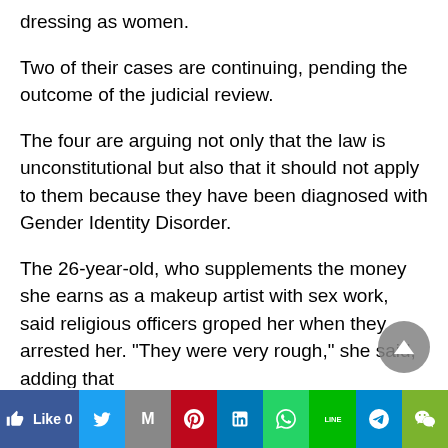dressing as women.
Two of their cases are continuing, pending the outcome of the judicial review.
The four are arguing not only that the law is unconstitutional but also that it should not apply to them because they have been diagnosed with Gender Identity Disorder.
The 26-year-old, who supplements the money she earns as a makeup artist with sex work, said religious officers groped her when they arrested her. "They were very rough," she said, adding that
Like 0 | Twitter | Gmail | Pinterest | LinkedIn | WhatsApp | Line | Telegram | WeChat